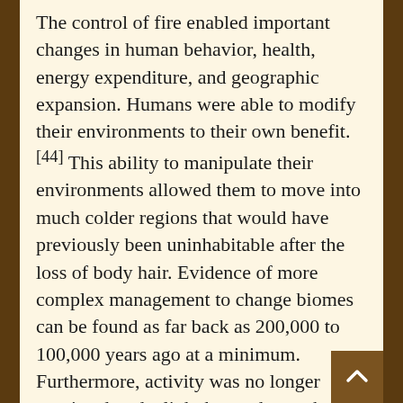The control of fire enabled important changes in human behavior, health, energy expenditure, and geographic expansion. Humans were able to modify their environments to their own benefit. [44] This ability to manipulate their environments allowed them to move into much colder regions that would have previously been uninhabitable after the loss of body hair. Evidence of more complex management to change biomes can be found as far back as 200,000 to 100,000 years ago at a minimum. Furthermore, activity was no longer restricted to daylight hours due to the use of fire. Exposure to artificial light during later hours of the day changed humans' circadian rhythms, contributing to a longer waking day. [45] The modern human's waking day is 16 hours, while most mammals are only awake for half as many hours.[43] Additionally, humans are most awake during the early evening hours, while